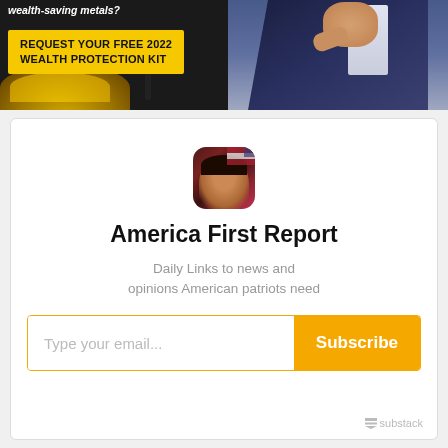[Figure (screenshot): Advertisement banner for a 2022 Wealth Protection Kit featuring gold coins and a person pointing, with yellow call-to-action box. Text reads: 'wealth-saving metals?' and 'REQUEST YOUR FREE 2022 WEALTH PROTECTION KIT']
[Figure (screenshot): Newsletter subscription widget for 'America First Report' on Substack. Shows profile avatar, newsletter title, description 'Daily Links to news and opinions American patriots need', email input field, and orange Subscribe button. Substack logo in bottom right.]
America First Report
Daily Links to news and opinions American patriots need
Type your email...
Subscribe
substack